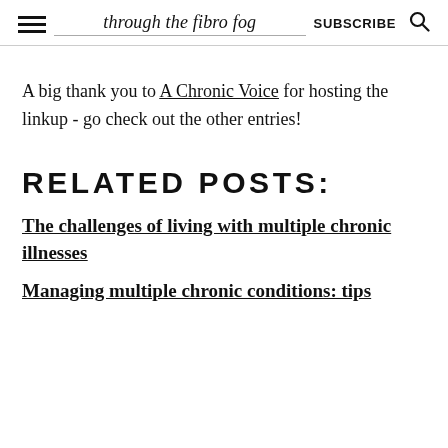through the fibro fog | SUBSCRIBE
A big thank you to A Chronic Voice for hosting the linkup - go check out the other entries!
RELATED POSTS:
The challenges of living with multiple chronic illnesses
Managing multiple chronic conditions: tips